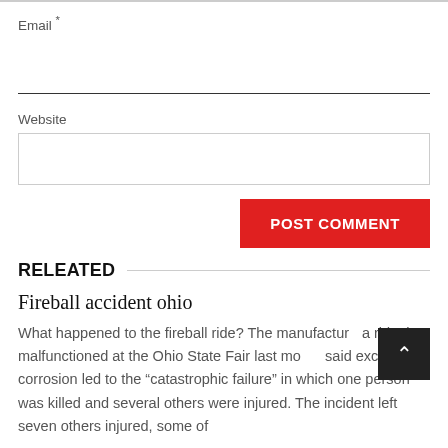Email *
Website
POST COMMENT
RELEATED
Fireball accident ohio
What happened to the fireball ride? The manufacturer a ride that malfunctioned at the Ohio State Fair last month said excessive corrosion led to the "catastrophic failure" in which one person was killed and several others were injured. The incident left seven others injured, some of